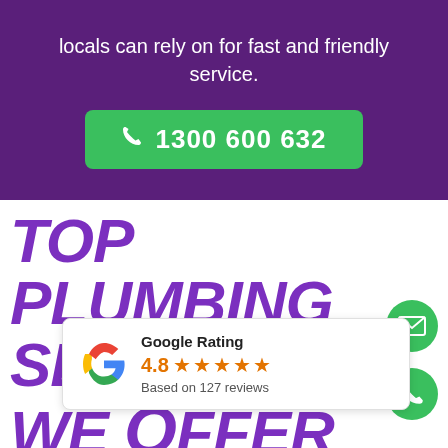locals can rely on for fast and friendly service.
1300 600 632
TOP PLUMBING SERVICES WE OFFER IN TWEED/MBIN VALLEY
Google Rating
4.8
Based on 127 reviews